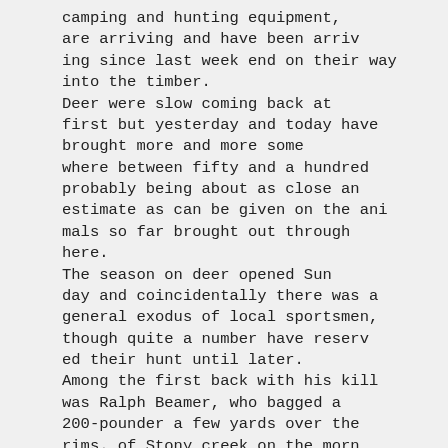camping and hunting equipment, are arriving and have been arriving since last week end on their way into the timber. Deer were slow coming back at first but yesterday and today have brought more and more some where between fifty and a hundred probably being about as close an estimate as can be given on the animals so far brought out through here. The season on deer opened Sunday and coincidentally there was a general exodus of local sportsmen, though quite a number have reserved their hunt until later. Among the first back with his kill was Ralph Beamer, who bagged a 200-pounder a few yards over the rims. of Stony creek on the morning of opening day and was about half a day getting it out by a circuitous two-mile route. That coun try in straight and also...